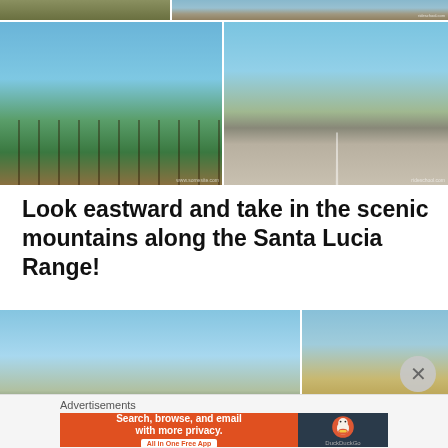[Figure (photo): Top strip of two landscape photos — arid hills and open road scene]
[Figure (photo): Two side-by-side landscape photos: left shows vineyard rows with mountains behind under blue sky; right shows a rural road with cyclist in distance, fences on both sides and trees in background]
Look eastward and take in the scenic mountains along the Santa Lucia Range!
[Figure (photo): Two side-by-side photos: left shows mountain range with blue sky and rolling hills; right shows arid hillside with a road sign on a fence post]
Advertisements
[Figure (screenshot): DuckDuckGo advertisement banner: orange left panel reading 'Search, browse, and email with more privacy. All in One Free App' and dark right panel with DuckDuckGo duck logo and 'DuckDuckGo' text]